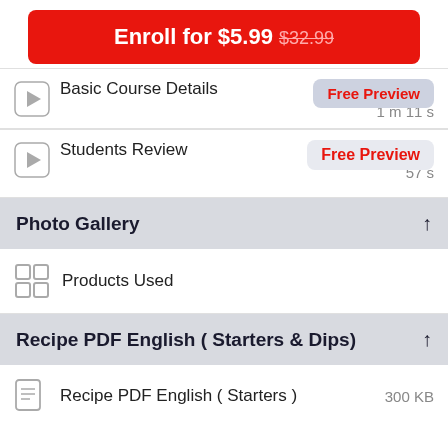Enroll for $5.99 $32.99
Basic Course Details  1 m 11 s
Students Review  Free Preview  57 s
Photo Gallery ↑
Products Used
Recipe PDF English ( Starters & Dips) ↑
Recipe PDF English ( Starters )  300 KB